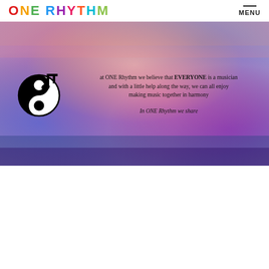ONE RHYTHM  MENU
[Figure (illustration): Colorful tie-dye background banner with rainbow colors — reds, blues, pinks, purples — spanning the upper portion of the page. Contains a yin-yang style music note logo on the left and centered text reading: 'at ONE Rhythm we believe that EVERYONE is a musician and with a little help along the way, we can all enjoy making music together in harmony' and 'In ONE Rhythm we share']
at ONE Rhythm we believe that EVERYONE is a musician and with a little help along the way, we can all enjoy making music together in harmony
In ONE Rhythm we share